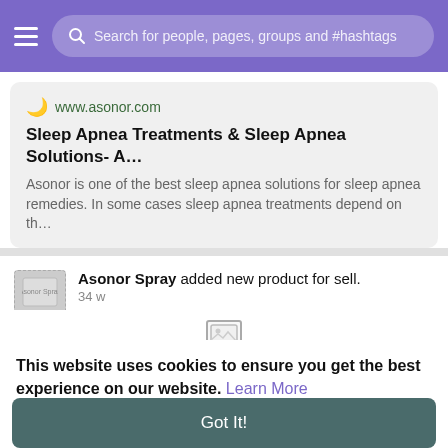Search for people, pages, groups and #hashtags
[Figure (screenshot): Link card showing www.asonor.com with title 'Sleep Apnea Treatments & Sleep Apnea Solutions- A...' and description about Asonor sleep apnea solutions]
Asonor Spray added new product for sell. 34 w
This website uses cookies to ensure you get the best experience on our website. Learn More
Got It!